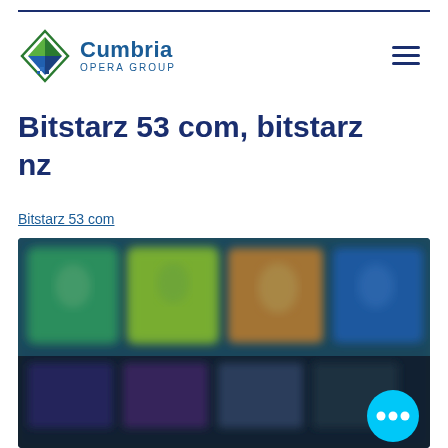Cumbria Opera Group
Bitstarz 53 com, bitstarz nz
Bitstarz 53 com
[Figure (screenshot): Blurred screenshot of a gaming website or online casino interface showing colorful game thumbnails with a cyan chat button overlay in the bottom right corner.]